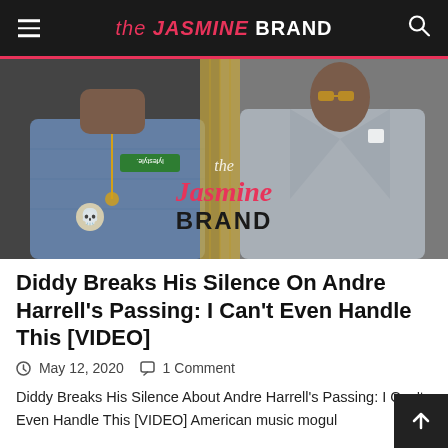the JASMINE BRAND
[Figure (photo): A split photo showing two men — on the left, a man in a denim jacket with patches, and on the right, a man in a grey blazer with sunglasses. The Jasmine Brand watermark is overlaid on the image.]
Diddy Breaks His Silence On Andre Harrell's Passing: I Can't Even Handle This [VIDEO]
May 12, 2020   1 Comment
Diddy Breaks His Silence About Andre Harrell's Passing: I Can't Even Handle This [VIDEO] American music mogul